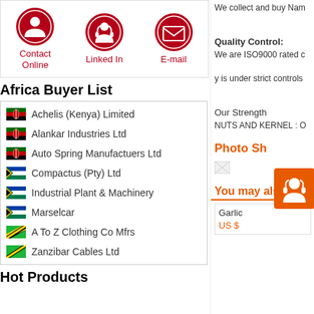[Figure (illustration): Three circular dark red icons: Contact Online (person silhouette), Linked In (headset person), E-mail (envelope). Each with label below in dark red text.]
Africa Buyer List
Achelis (Kenya) Limited
Alankar Industries Ltd
Auto Spring Manufactuers Ltd
Compactus (Pty) Ltd
Industrial Plant & Machinery
Marselcar
A To Z Clothing Co Mfrs
Zanzibar Cables Ltd
Hot Products
We collect and buy Nam
Quality Control:
We are ISO9000 rated c
y is under strict controls
Our Strength
NUTS AND KERNEL : O
Photo Sh
[Figure (illustration): Broken image placeholder]
[Figure (illustration): Orange customer service icon with person/headset silhouette]
You may also lik
Garlic
US $